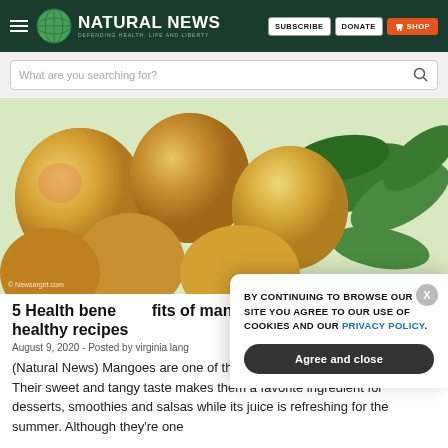NATURAL NEWS — DEFENDING HEALTH, LIFE AND LIBERTY
What are you searching for?
[Figure (photo): Close-up photograph of ripe yellow-orange mangoes with green leaves]
5 Health benefits of mangoes (cover story) healthy recipes
August 9, 2020 - Posted by virginia lang
(Natural News) Mangoes are one of the most popular fruits in the world. Their sweet and tangy taste makes them a favorite ingredient for desserts, smoothies and salsas while its juice is refreshing for the summer. Although they're one
BY CONTINUING TO BROWSE OUR SITE YOU AGREE TO OUR USE OF COOKIES AND OUR PRIVACY POLICY. Agree and close